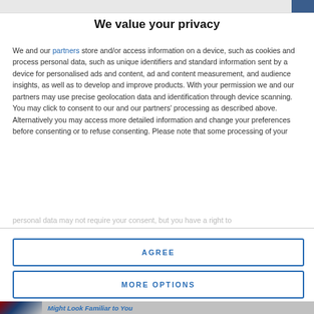We value your privacy
We and our partners store and/or access information on a device, such as cookies and process personal data, such as unique identifiers and standard information sent by a device for personalised ads and content, ad and content measurement, and audience insights, as well as to develop and improve products. With your permission we and our partners may use precise geolocation data and identification through device scanning. You may click to consent to our and our partners' processing as described above. Alternatively you may access more detailed information and change your preferences before consenting or to refuse consenting. Please note that some processing of your personal data may not require your consent, but you have a right to
AGREE
MORE OPTIONS
Might Look Familiar to You